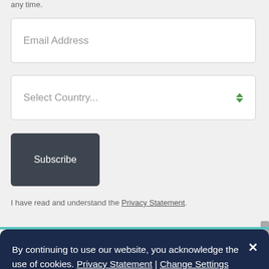any time.
Email Address
Select Country...
Subscribe
I have read and understand the Privacy Statement.
By continuing to use our website, you acknowledge the use of cookies. Privacy Statement | Change Settings